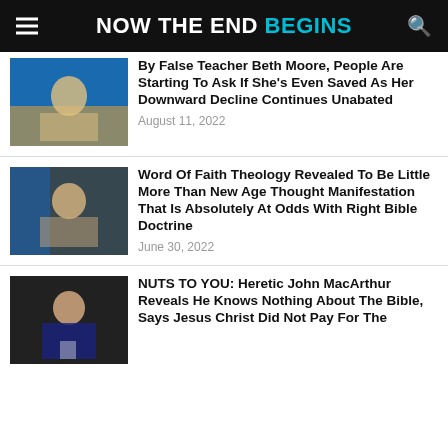NOW THE END BEGINS
By False Teacher Beth Moore, People Are Starting To Ask If She’s Even Saved As Her Downward Decline Continues Unabated
August 11, 2022
Word Of Faith Theology Revealed To Be Little More Than New Age Thought Manifestation That Is Absolutely At Odds With Right Bible Doctrine
June 30, 2022
NUTS TO YOU: Heretic John MacArthur Reveals He Knows Nothing About The Bible, Says Jesus Christ Did Not Pay For The